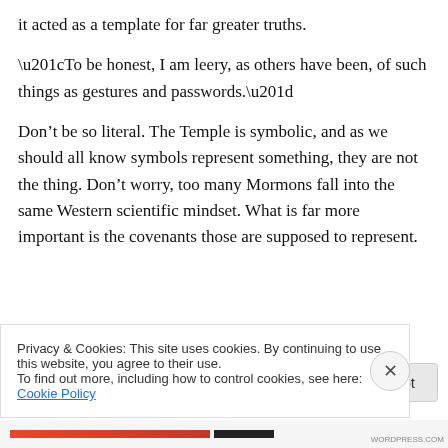it acted as a template for far greater truths.
“To be honest, I am leery, as others have been, of such things as gestures and passwords.”
Don’t be so literal. The Temple is symbolic, and as we should all know symbols represent something, they are not the thing. Don’t worry, too many Mormons fall into the same Western scientific mindset. What is far more important is the covenants those are supposed to represent.
Privacy & Cookies: This site uses cookies. By continuing to use this website, you agree to their use.
To find out more, including how to control cookies, see here: Cookie Policy
Close and accept